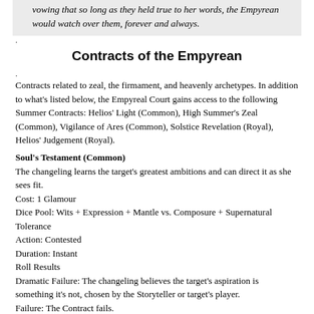vowing that so long as they held true to her words, the Empyrean would watch over them, forever and always.
Contracts of the Empyrean
Contracts related to zeal, the firmament, and heavenly archetypes. In addition to what's listed below, the Empyreal Court gains access to the following Summer Contracts: Helios' Light (Common), High Summer's Zeal (Common), Vigilance of Ares (Common), Solstice Revelation (Royal), Helios' Judgement (Royal).
Soul's Testament (Common)
The changeling learns the target's greatest ambitions and can direct it as she sees fit.
Cost: 1 Glamour
Dice Pool: Wits + Expression + Mantle vs. Composure + Supernatural Tolerance
Action: Contested
Duration: Instant
Roll Results
Dramatic Failure: The changeling believes the target's aspiration is something it's not, chosen by the Storyteller or target's player.
Failure: The Contract fails.
Success: The changeling learns the target's most impassioned aspiration, and any Conditions or Tilts connected to it. This aspiration can even be one the target is unaware of. The changeling may replace this aspiration with one of her choice. The target's passion for the